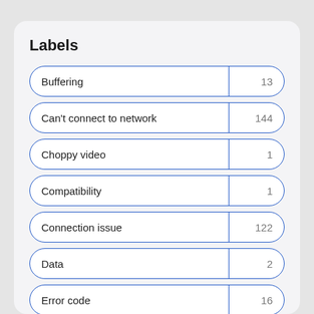Labels
Buffering | 13
Can't connect to network | 144
Choppy video | 1
Compatibility | 1
Connection issue | 122
Data | 2
Error code | 16
Ethernet | 16